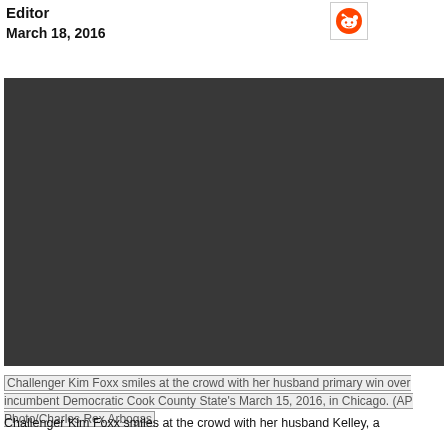Editor
March 18, 2016
[Figure (other): Video placeholder with repeating play button / speech bubble icon pattern on dark background]
Challenger Kim Foxx smiles at the crowd with her husband primary win over incumbent Democratic Cook County State's March 15, 2016, in Chicago. (AP Photo/Charles Rex Arbogas
Challenger Kim Foxx smiles at the crowd with her husband Kelley, a